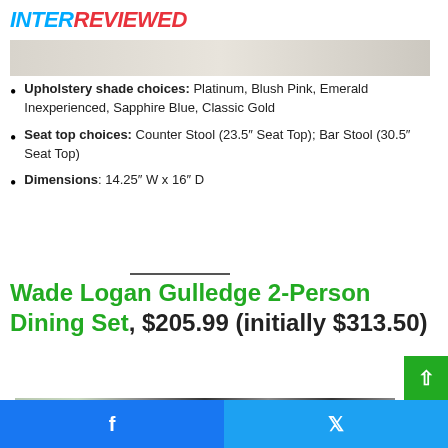INTERREVIEWED
[Figure (photo): Top portion of a product image, light gray/beige background]
Upholstery shade choices: Platinum, Blush Pink, Emerald Inexperienced, Sapphire Blue, Classic Gold
Seat top choices: Counter Stool (23.5″ Seat Top); Bar Stool (30.5″ Seat Top)
Dimensions: 14.25″ W x 16″ D
Wade Logan Gulledge 2-Person Dining Set, $205.99 (initially $313.50)
[Figure (photo): Bottom portion of a product image showing chairs with dark frames]